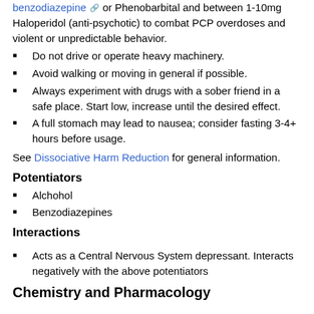benzodiazepine or Phenobarbital and between 1-10mg Haloperidol (anti-psychotic) to combat PCP overdoses and violent or unpredictable behavior.
Do not drive or operate heavy machinery.
Avoid walking or moving in general if possible.
Always experiment with drugs with a sober friend in a safe place. Start low, increase until the desired effect.
A full stomach may lead to nausea; consider fasting 3-4+ hours before usage.
See Dissociative Harm Reduction for general information.
Potentiators
Alchohol
Benzodiazepines
Interactions
Acts as a Central Nervous System depressant. Interacts negatively with the above potentiators
Chemistry and Pharmacology